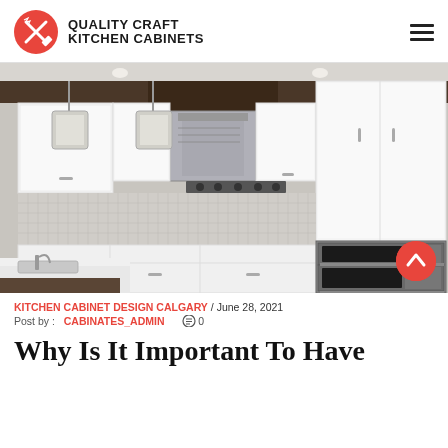QUALITY CRAFT KITCHEN CABINETS
[Figure (photo): Modern kitchen interior with white gloss cabinets, stainless steel range hood, mosaic tile backsplash, double wall oven, and white quartz island countertop]
KITCHEN CABINET DESIGN CALGARY / June 28, 2021
Post by : CABINATES_ADMIN  0
Why Is It Important To Have